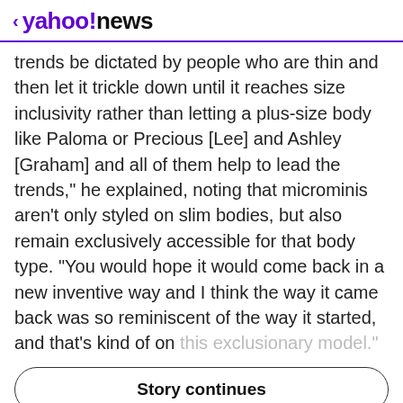< yahoo!news
trends be dictated by people who are thin and then let it trickle down until it reaches size inclusivity rather than letting a plus-size body like Paloma or Precious [Lee] and Ashley [Graham] and all of them help to lead the trends," he explained, noting that microminis aren't only styled on slim bodies, but also remain exclusively accessible for that body type. "You would hope it would come back in a new inventive way and I think the way it came back was so reminiscent of the way it started, and that's kind of on this exclusionary model."
Story continues
View comments